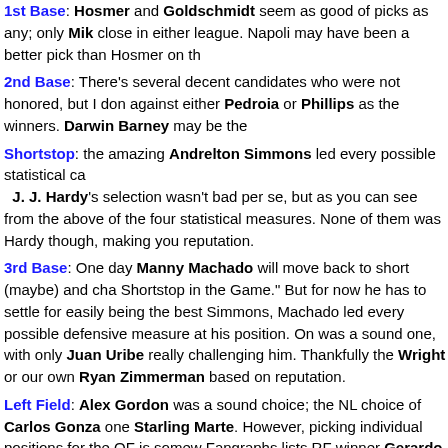1st Base: Hosmer and Goldschmidt seem as good of picks as any; only MIk close in either league. Napoli may have been a better pick than Hosmer on th
2nd Base: There's several decent candidates who were not honored, but I don against either Pedroia or Phillips as the winners. Darwin Barney may be the
Shortstop: the amazing Andrelton Simmons led every possible statistical ca J. J. Hardy's selection wasn't bad per se, but as you can see from the above of the four statistical measures. None of them was Hardy though, making you reputation.
3rd Base: One day Manny Machado will move back to short (maybe) and cha Shortstop in the Game." But for now he has to settle for easily being the best Simmons, Machado led every possible defensive measure at his position. On was a sound one, with only Juan Uribe really challenging him. Thankfully the Wright or our own Ryan Zimmerman based on reputation.
Left Field: Alex Gordon was a sound choice; the NL choice of Carlos Gonza one Starling Marte. However, picking individual positions for the OF is somew Fangraphs lists RF winner Gerardo Parra as a left-fielder for some reason.
Center Field: Carlos Gomez is a great pick (and is one of the reasons I poste post in this space, which by the way, got almost no reaction from the readersh in some of these range metrics and unfortunately has gotten this award via rep as opposed to performance. Jones is clearly the "Derek Jeter" of 2013, and th Its hard for me to say who I would have preferred; Jacoby Ellsbury is the bi